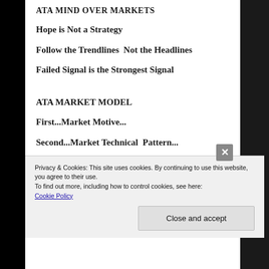ATA MIND OVER MARKETS
Hope is Not a Strategy
Follow the Trendlines  Not the Headlines
Failed Signal is the Strongest Signal
ATA MARKET MODEL
First...Market Motive...
Second...Market Technical  Pattern...
Privacy & Cookies: This site uses cookies. By continuing to use this website, you agree to their use.
To find out more, including how to control cookies, see here: Cookie Policy
Close and accept